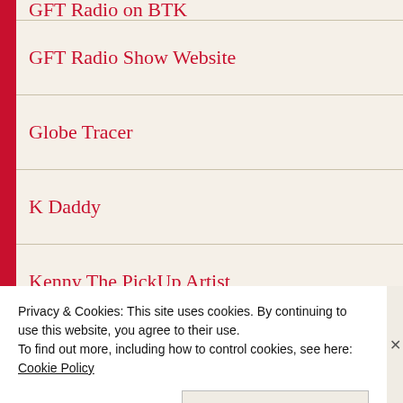GFT Radio on BTK
GFT Radio Show Website
Globe Tracer
K Daddy
Kenny The PickUp Artist
Keyboard Kartel
Kushite Kingdom
Like Water For Chocolate
Love, Lust & Everything In Between
Privacy & Cookies: This site uses cookies. By continuing to use this website, you agree to their use.
To find out more, including how to control cookies, see here: Cookie Policy
Close and accept